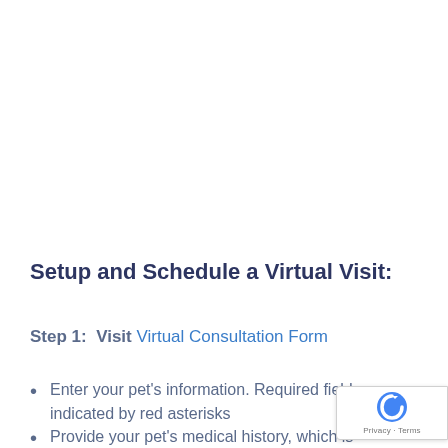Setup and Schedule a Virtual Visit:
Step 1:  Visit Virtual Consultation Form
Enter your pet's information. Required fields are indicated by red asterisks
Provide your pet's medical history, which is